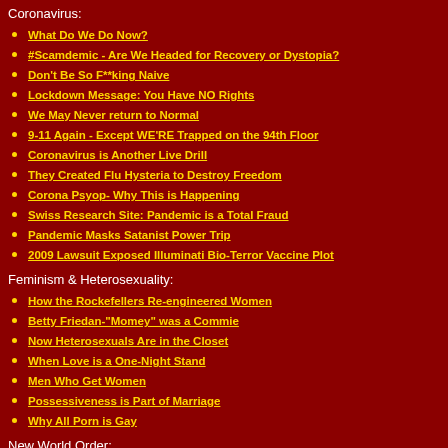Coronavirus:
What Do We Do Now?
#Scamdemic - Are We Headed for Recovery or Dystopia?
Don't Be So F**king Naive
Lockdown Message: You Have NO Rights
We May Never return to Normal
9-11 Again - Except WE'RE Trapped on the 94th Floor
Coronavirus is Another Live Drill
They Created Flu Hysteria to Destroy Freedom
Corona Psyop- Why This is Happening
Swiss Research Site: Pandemic is a Total Fraud
Pandemic Masks Satanist Power Trip
2009 Lawsuit Exposed Illuminati Bio-Terror Vaccine Plot
Feminism & Heterosexuality:
How the Rockefellers Re-engineered Women
Betty Friedan-"Momey" was a Commie
Now Heterosexuals Are in the Closet
When Love is a One-Night Stand
Men Who Get Women
Possessiveness is Part of Marriage
Why All Porn is Gay
New World Order:
An Illuminati Primer
Conspiracy Too Monstrous to Conceive
Rothschild Conducts Red Symphony
The Devil's Work: Feminism and the Elite Depopulation Agenda